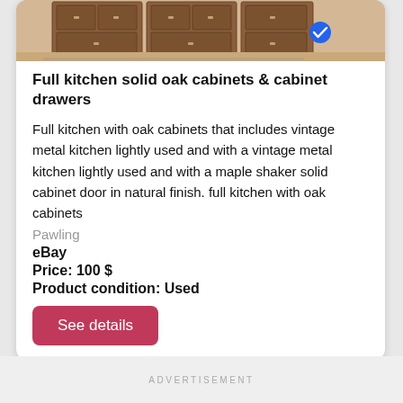[Figure (photo): Product photo of wooden oak kitchen cabinets with a blue checkmark badge overlay]
Full kitchen solid oak cabinets & cabinet drawers
Full kitchen with oak cabinets that includes vintage metal kitchen lightly used and with a vintage metal kitchen lightly used and with a maple shaker solid cabinet door in natural finish. full kitchen with oak cabinets
Pawling
eBay
Price: 100 $
Product condition: Used
See details
ADVERTISEMENT